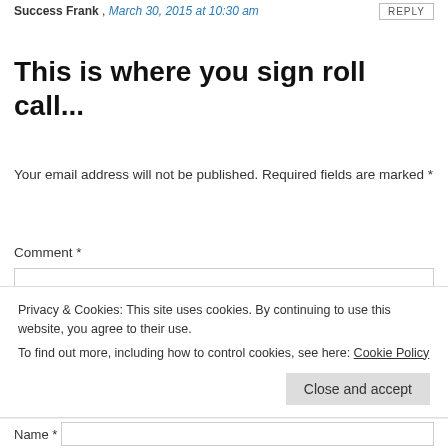Success Frank , March 30, 2015 at 10:30 am   REPLY
This is where you sign roll call...
Your email address will not be published. Required fields are marked *
Comment *
Privacy & Cookies: This site uses cookies. By continuing to use this website, you agree to their use.
To find out more, including how to control cookies, see here: Cookie Policy
Close and accept
Name *